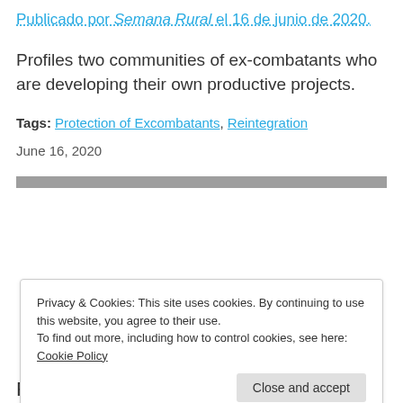Publicado por Semana Rural el 16 de junio de 2020.
Profiles two communities of ex-combatants who are developing their own productive projects.
Tags: Protection of Excombatants, Reintegration
June 16, 2020
Privacy & Cookies: This site uses cookies. By continuing to use this website, you agree to their use. To find out more, including how to control cookies, see here: Cookie Policy
Close and accept
Restrepo, shot to death on June 14 in Ibu,